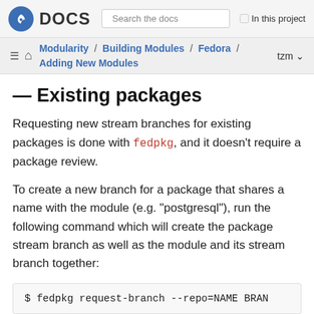Fedora DOCS | Search the docs | In this project
Modularity / Building Modules / Fedora / Adding New Modules | tzm
— Existing packages
Requesting new stream branches for existing packages is done with fedpkg, and it doesn't require a package review.
To create a new branch for a package that shares a name with the module (e.g. "postgresql"), run the following command which will create the package stream branch as well as the module and its stream branch together:
$ fedpkg request-branch --repo=NAME BRAN